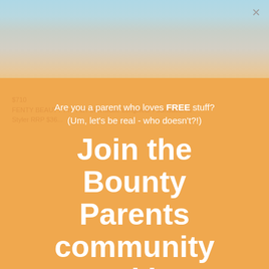[Figure (photo): Top portion showing a photo of a person with a light blue/grey background fading into an orange overlay panel]
Are you a parent who loves FREE stuff? (Um, let's be real - who doesn't?!)
Join the Bounty Parents community and be rewarded!